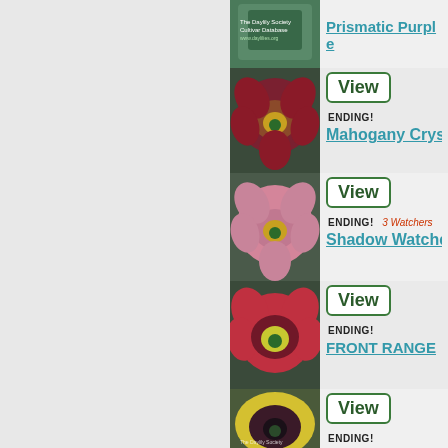[Figure (photo): Daylily flower photo - Prismatic Purple, The Daylily Society Cultivar Database logo]
Prismatic Purple
[Figure (photo): Daylily flower photo - Mahogany Crystal, dark red/purple flower]
View
ENDING!
Mahogany Crys...
[Figure (photo): Daylily flower photo - Shadow Watcher, pink flower]
View
ENDING! 3 Watchers
Shadow Watche...
[Figure (photo): Daylily flower photo - FRONT RANGE, red/purple flower]
View
ENDING!
FRONT RANGE
[Figure (photo): Daylily flower photo - Tattooed Duchess, yellow with dark purple eye]
View
ENDING!
Tattooed Duche...
[Figure (photo): Daylily flower photo - Full Of Briars, purple/magenta flower]
View
ENDING! 1 Watchers
Full Of Briars (S...